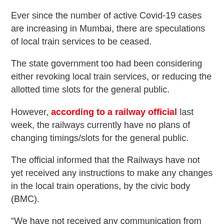Ever since the number of active Covid-19 cases are increasing in Mumbai, there are speculations of local train services to be ceased.
The state government too had been considering either revoking local train services, or reducing the allotted time slots for the general public.
However, according to a railway official last week, the railways currently have no plans of changing timings/slots for the general public.
The official informed that the Railways have not yet received any instructions to make any changes in the local train operations, by the civic body (BMC).
“We have not received any communication from the state or the Brihanmumbai Municipal Corporation (BMC) regarding reducing local train timings or suspending train services.